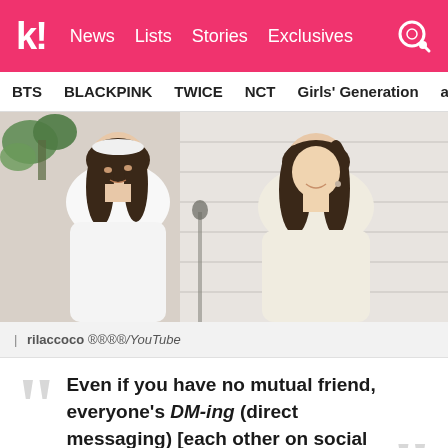k! News Lists Stories Exclusives
BTS BLACKPINK TWICE NCT Girls' Generation aespa
[Figure (photo): Two young women sitting side by side, both wearing white/cream oversized jackets, with long brown hair. Background shows a white paneled wall and a plant on the left.]
| rilaccoco 릴라코코/YouTube
Even if you have no mutual friend, everyone's DM-ing (direct messaging) [each other on social media].